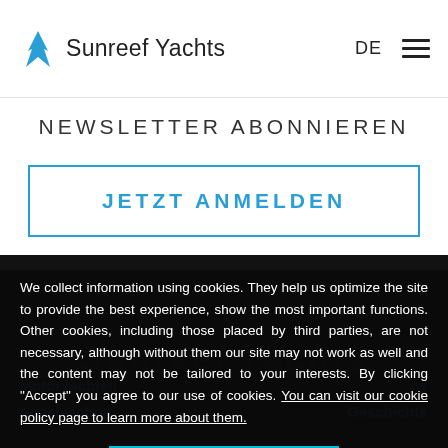Sunreef Yachts | DE | menu
NEWSLETTER ABONNIEREN
JETZT ANMELDEN
We collect information using cookies. They help us optimize the site to provide the best experience, show the most important functions. Other cookies, including those placed by third parties, are not necessary, although without them our site may not work as well and the content may not be tailored to your interests. By clicking "Accept" you agree to our use of cookies. You can visit our cookie policy page to learn more about them.
Accept
Motoryachten
Segelyachten
Geschichte